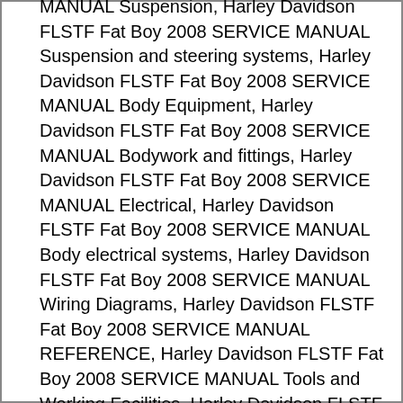MANUAL Suspension, Harley Davidson FLSTF Fat Boy 2008 SERVICE MANUAL Suspension and steering systems, Harley Davidson FLSTF Fat Boy 2008 SERVICE MANUAL Body Equipment, Harley Davidson FLSTF Fat Boy 2008 SERVICE MANUAL Bodywork and fittings, Harley Davidson FLSTF Fat Boy 2008 SERVICE MANUAL Electrical, Harley Davidson FLSTF Fat Boy 2008 SERVICE MANUAL Body electrical systems, Harley Davidson FLSTF Fat Boy 2008 SERVICE MANUAL Wiring Diagrams, Harley Davidson FLSTF Fat Boy 2008 SERVICE MANUAL REFERENCE, Harley Davidson FLSTF Fat Boy 2008 SERVICE MANUAL Tools and Working Facilities, Harley Davidson FLSTF Fat Boy 2008 SERVICE MANUAL General Repair Procedures, Harley Davidson FLSTF Fat Boy 2008 SERVICE MANUAL Buying spare parts and vehicle identification numbers, Harley Davidson FLSTF Fat Boy 2008 SERVICE MANUAL Fault Finding, Harley